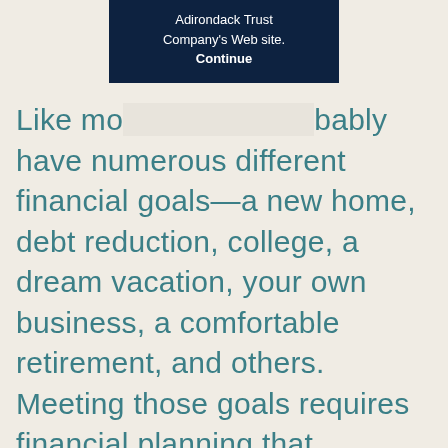[Figure (screenshot): Dark navy blue modal popup box showing text 'Adirondack Trust Company's Web site.' and a bold 'Continue' button]
Like mo[st people, you] probably have numerous different financial goals—a new home, debt reduction, college, a dream vacation, your own business, a comfortable retirement, and others. Meeting those goals requires financial planning that considers all aspects of your financial life: